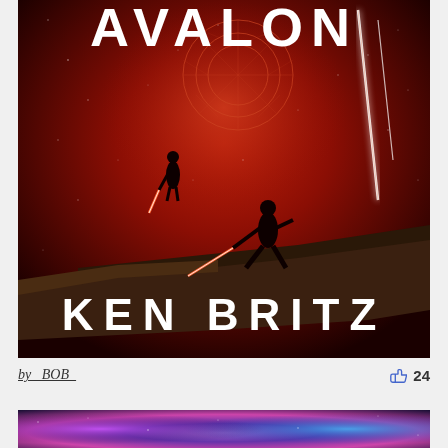[Figure (illustration): Book cover for 'AVALON' by Ken Britz. Dark red/crimson science fiction cover with two silhouetted figures on a rocky ledge — one floating in the air holding a glowing sword, one standing on the ground in a wide stance holding a glowing sword. Background shows a deep red starfield with a circular geometric target/portal symbol near the top and two bright white streaks/meteors falling from the upper right. The title 'AVALON' appears in large white bold letters at the top, and 'KEN BRITZ' in large white bold letters at the bottom.]
by _BOB_
24
[Figure (illustration): Partial view of a second book cover or image showing a space/nebula scene with blues, purples, and pinks — a cosmic/galaxy background image, cropped at the bottom edge of the page.]